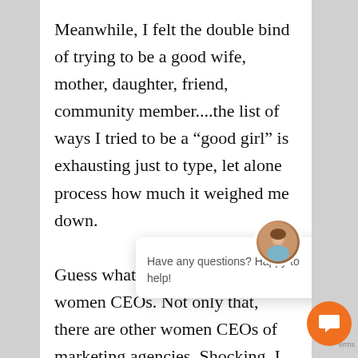Meanwhile, I felt the double bind of trying to be a good wife, mother, daughter, friend, community member....the list of ways I tried to be a “good girl” is exhausting just to type, let alone process how much it weighed me down.

Guess what–t[here are other] women CEOs. Not only that, there are other women CEOs of marketing agencies. Shocking, I
[Figure (other): Chat support widget overlay with avatar photo of a woman, close button (x), message 'Have any questions? Happy to help!', and an orange chat bubble button at bottom right.]